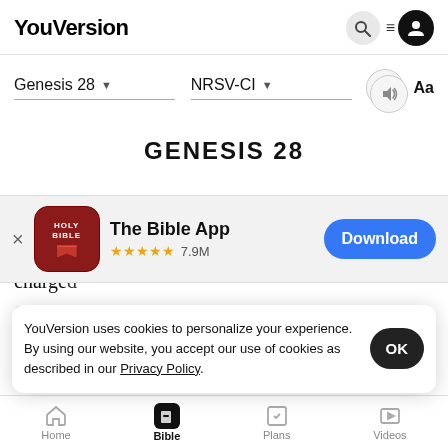YouVersion
Genesis 28 | NRSV-CI
GENESIS 28
[Figure (screenshot): The Bible App download banner with HOLY BIBLE icon, 5 stars, 7.9M ratings, and a Download button]
charged
Canaan
to the ... of Bethel ... the father of the ...
YouVersion uses cookies to personalize your experience. By using our website, you accept our use of cookies as described in our Privacy Policy.
Home | Bible | Plans | Videos